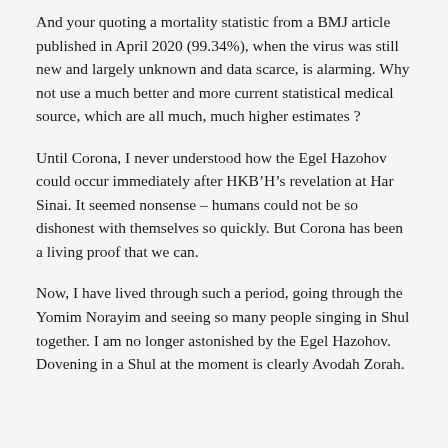And your quoting a mortality statistic from a BMJ article published in April 2020 (99.34%), when the virus was still new and largely unknown and data scarce, is alarming. Why not use a much better and more current statistical medical source, which are all much, much higher estimates ?
Until Corona, I never understood how the Egel Hazohov could occur immediately after HKB’H’s revelation at Har Sinai. It seemed nonsense – humans could not be so dishonest with themselves so quickly. But Corona has been a living proof that we can.
Now, I have lived through such a period, going through the Yomim Norayim and seeing so many people singing in Shul together. I am no longer astonished by the Egel Hazohov.
Dovening in a Shul at the moment is clearly Avodah Zorah.